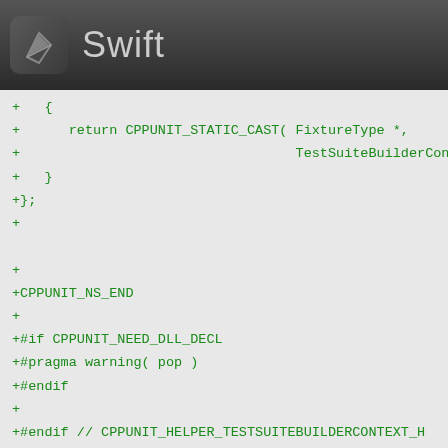Swift
+   {
+      return CPPUNIT_STATIC_CAST( FixtureType *,
+                                  TestSuiteBuilderCon
+   }
+};
+
+
+CPPUNIT_NS_END
+
+#if CPPUNIT_NEED_DLL_DECL
+#pragma warning( pop )
+#endif
+
+#endif // CPPUNIT_HELPER_TESTSUITEBUILDERCONTEXT_H
+
diff --git a/3rdParty/CppUnit/cppunit/extensions/Tes
new file mode 100644
index 0000000..260b483
--- /dev/null